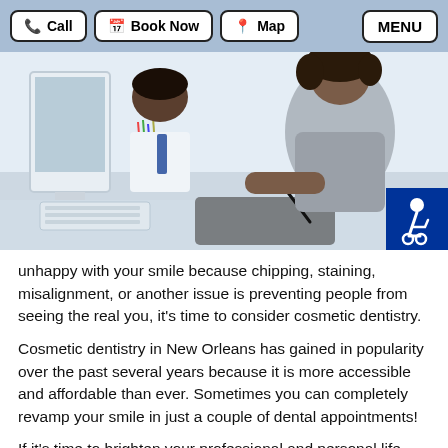Call | Book Now | Map | MENU
[Figure (photo): Office scene with two people working at a desk with a computer monitor; a woman in a gray top writing with a stylus, and a man in a white shirt and tie in the background.]
unhappy with your smile because chipping, staining, misalignment, or another issue is preventing people from seeing the real you, it’s time to consider cosmetic dentistry.
Cosmetic dentistry in New Orleans has gained in popularity over the past several years because it is more accessible and affordable than ever. Sometimes you can completely revamp your smile in just a couple of dental appointments!
If it’s time to brighten your professional and personal life